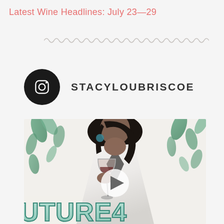Latest Wine Headlines: July 23—29
[Figure (illustration): Decorative wavy/zigzag line separator]
STACYLOUBRISCOE
[Figure (photo): Instagram post from stacyloubriscoe showing a woman in a white blazer holding a red wine glass, with tropical leaf wallpaper background, and 'FUTURE4' text overlay at the bottom. A play button is overlaid in the center indicating a video.]